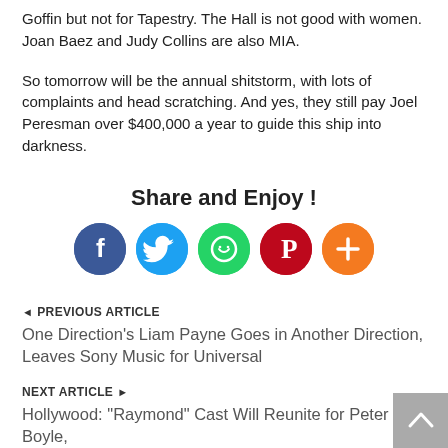Goffin but not for Tapestry. The Hall is not good with women. Joan Baez and Judy Collins are also MIA.
So tomorrow will be the annual shitstorm, with lots of complaints and head scratching. And yes, they still pay Joel Peresman over $400,000 a year to guide this ship into darkness.
Share and Enjoy !
[Figure (infographic): Social share buttons: Facebook (blue), Twitter (light blue), WhatsApp (green), Pinterest (red), More (orange)]
PREVIOUS ARTICLE
One Direction's Liam Payne Goes in Another Direction, Leaves Sony Music for Universal
NEXT ARTICLE
Hollywood: "Raymond" Cast Will Reunite for Peter Boyle,